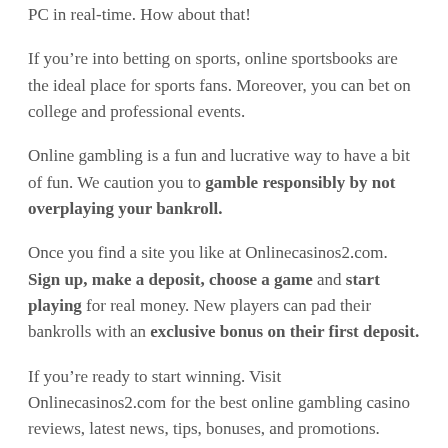PC in real-time. How about that!
If you’re into betting on sports, online sportsbooks are the ideal place for sports fans. Moreover, you can bet on college and professional events.
Online gambling is a fun and lucrative way to have a bit of fun. We caution you to gamble responsibly by not overplaying your bankroll.
Once you find a site you like at Onlinecasinos2.com. Sign up, make a deposit, choose a game and start playing for real money. New players can pad their bankrolls with an exclusive bonus on their first deposit.
If you’re ready to start winning. Visit Onlinecasinos2.com for the best online gambling casino reviews, latest news, tips, bonuses, and promotions.
Identifying The Best USA Gambling Sites Online